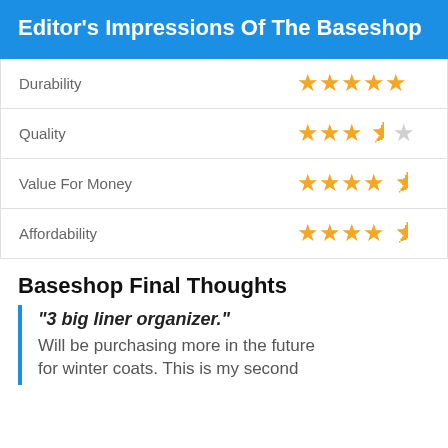Editor's Impressions Of The Baseshop
| Category | Rating |
| --- | --- |
| Durability | 5 stars |
| Quality | 3.5 stars |
| Value For Money | 4.5 stars |
| Affordability | 4.5 stars |
Baseshop Final Thoughts
"3 big liner organizer." Will be purchasing more in the future for winter coats. This is my second